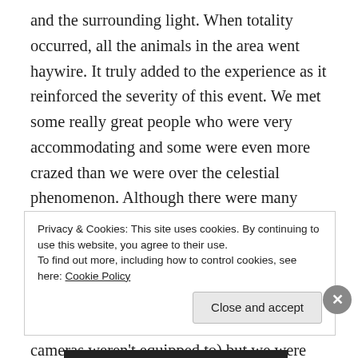and the surrounding light. When totality occurred, all the animals in the area went haywire. It truly added to the experience as it reinforced the severity of this event. We met some really great people who were very accommodating and some were even more crazed than we were over the celestial phenomenon. Although there were many surreal moments that occurred during the trip and the eclipse, I think the coolest was the 360 degree sunset that resulted from the moon eclipsing the sun. Unfortunately, we couldn't get a direct picture of totality (our cameras weren't equipped to) but we were able to capture the sunset! I feel incredibly lucky to have
Privacy & Cookies: This site uses cookies. By continuing to use this website, you agree to their use.
To find out more, including how to control cookies, see here: Cookie Policy
Close and accept